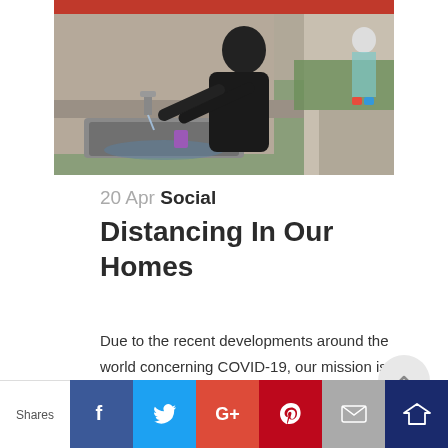[Figure (photo): Person washing hands at an outdoor metal sink with running water from a tap. Person wearing black dress/clothing. Another person visible in background on grass.]
20 Apr Social Distancing In Our Homes
Due to the recent developments around the world concerning COVID-19, our mission is more important than ever before. Together with God and
Shares | Facebook | Twitter | Google+ | Pinterest | Email | Crown